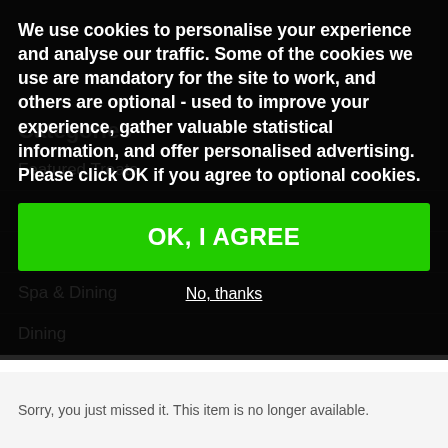We use cookies to personalise your experience and analyse our traffic. Some of the cookies we use are mandatory for the site to work, and others are optional - used to improve your experience, gather valuable statistical information, and offer personalised advertising. Please click OK if you agree to optional cookies.
OK, I AGREE
No, thanks
Categories
Featured Treats
Gift Ideas
Romantic Escapes
Spa & Dining
Dining
Sorry, you just missed it. This item is no longer available.